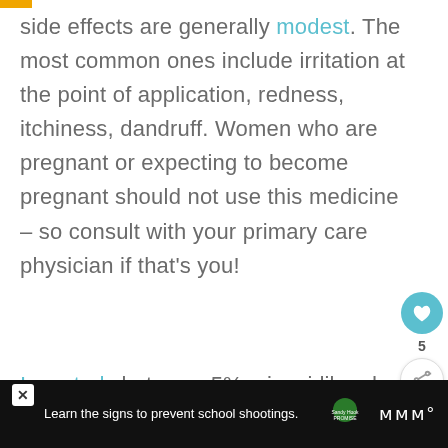side effects are generally modest. The most common ones include irritation at the point of application, redness, itchiness, dandruff. Women who are pregnant or expecting to become pregnant should not use this medicine – so consult with your primary care physician if that's you!
In a study between 5% minoxidil and... 2% saw...(truncated)
[Figure (infographic): UI widget showing heart/like icon with count '5' and a share icon]
[Figure (infographic): WHAT'S NEXT widget showing thumbnail with bar chart icon and text 'Hers vs Vegamour v...']
Learn the signs to prevent school shootings.